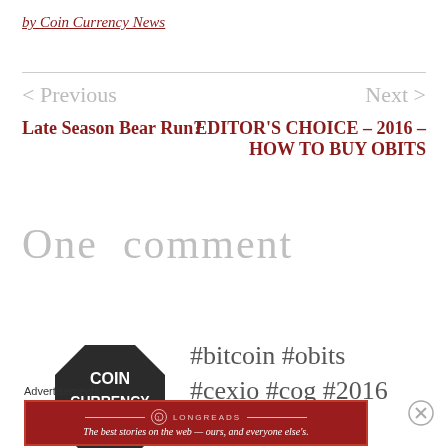by Coin Currency News
< Previous
Next >
Late Season Bear Run?
EDITOR'S CHOICE – 2016 – HOW TO BUY OBITS
One comment
[Figure (logo): Coin Currency News octagon logo]
#bitcoin #obits #cexio #cog #2016
Advertisements
[Figure (other): Longreads advertisement banner: The best stories on the web — ours, and everyone else's.]